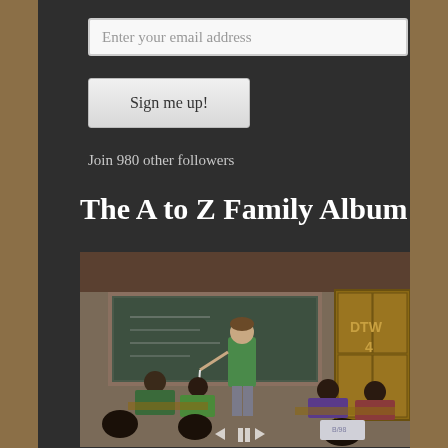Enter your email address
Sign me up!
Join 980 other followers
The A to Z Family Album
[Figure (photo): A teacher in a green shirt stands at the front of a classroom in what appears to be an African school. Students sit at wooden desks. A chalkboard is visible at the back of the room along with a wooden cabinet with letters DTW and number 4 written on it. The image has slideshow controls (back, pause, forward) overlaid at the bottom center.]